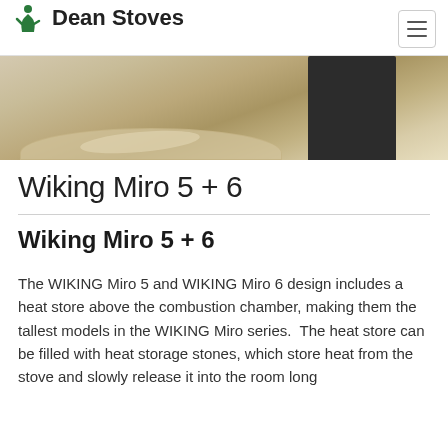Dean Stoves
[Figure (photo): Bottom portion of a stove product photo showing a hearth pad/glass panel on a wooden floor with a dark stove base visible]
Wiking Miro 5 + 6
Wiking Miro 5 + 6
The WIKING Miro 5 and WIKING Miro 6 design includes a heat store above the combustion chamber, making them the tallest models in the WIKING Miro series.  The heat store can be filled with heat storage stones, which store heat from the stove and slowly release it into the room long after the fire has gone out.